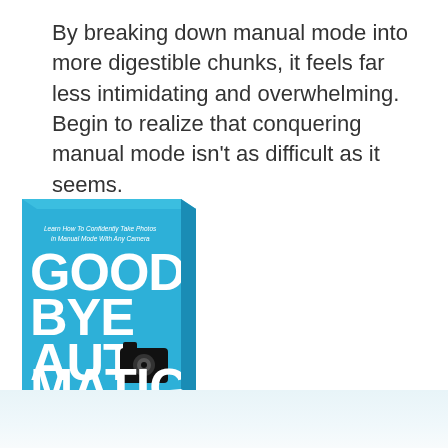By breaking down manual mode into more digestible chunks, it feels far less intimidating and overwhelming. Begin to realize that conquering manual mode isn't as difficult as it seems.
[Figure (illustration): Book cover of 'Goodbye Automatic' with a bright blue cover showing large white text GOOD BYE AUTO MATIC and a black camera icon replacing the O in AUTO. Subtitle reads 'Learn How To Confidently Take Photos in Manual Mode With Any Camera'. Book is shown in 3D perspective with a reflection below.]